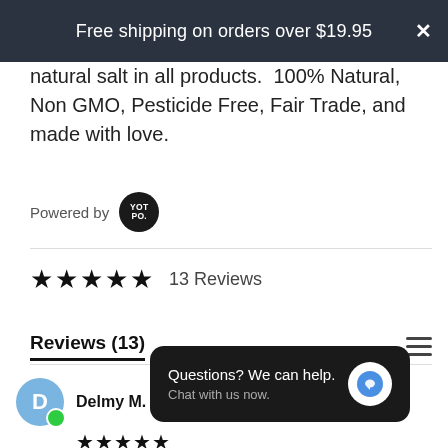Free shipping on orders over $19.95
natural salt in all products.  100% Natural, Non GMO, Pesticide Free, Fair Trade, and made with love.
Powered by YOTPO.
★★★★★  13 Reviews
Reviews (13)
Delmy M.  Verified Buyer
★★★★★
Questions? We can help. Chat with us now.